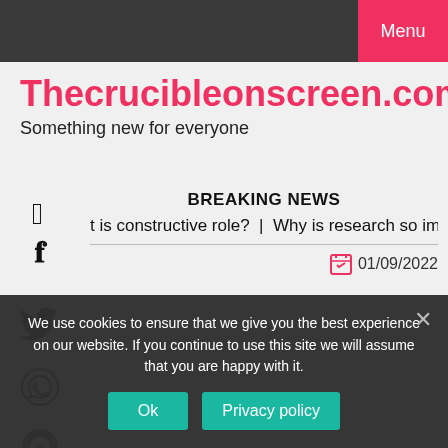Menu
Thecrucibleonscreen.com
Something new for everyone
BREAKING NEWS
t is constructive role?  |  Why is research so important?  |  D
01/09/2022
We use cookies to ensure that we give you the best experience on our website. If you continue to use this site we will assume that you are happy with it.
Ok
Privacy policy